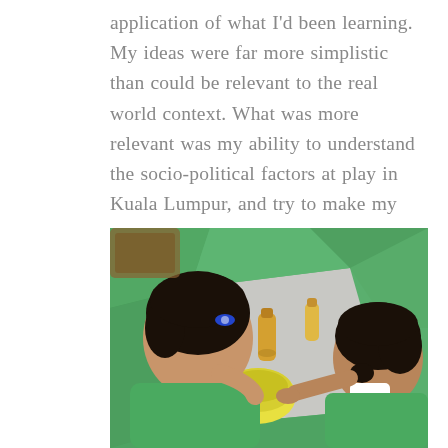application of what I'd been learning. My ideas were far more simplistic than could be relevant to the real world context. What was more relevant was my ability to understand the socio-political factors at play in Kuala Lumpur, and try to make my presence worthwhile in that space.
[Figure (photo): Overhead view of two young children wearing green aprons/smocks, working with a yellow bowl and bottles on a table covered with green plastic sheeting. An arts and crafts or science activity scene.]